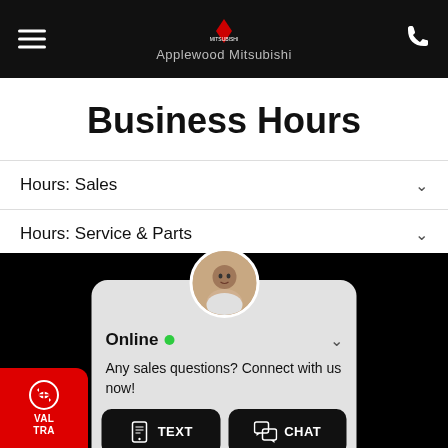Applewood Mitsubishi
Business Hours
Hours: Sales
Hours: Service & Parts
[Figure (screenshot): Chat widget with agent avatar, Online status with green dot, message 'Any sales questions? Connect with us now!', and two buttons: TEXT and CHAT]
Online • Any sales questions? Connect with us now!
VALUE YOUR TRADE